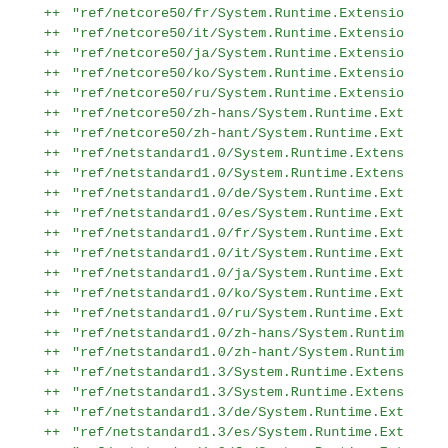++ "ref/netcore50/fr/System.Runtime.Extensio
++ "ref/netcore50/it/System.Runtime.Extensio
++ "ref/netcore50/ja/System.Runtime.Extensio
++ "ref/netcore50/ko/System.Runtime.Extensio
++ "ref/netcore50/ru/System.Runtime.Extensio
++ "ref/netcore50/zh-hans/System.Runtime.Ext
++ "ref/netcore50/zh-hant/System.Runtime.Ext
++ "ref/netstandard1.0/System.Runtime.Extens
++ "ref/netstandard1.0/System.Runtime.Extens
++ "ref/netstandard1.0/de/System.Runtime.Ext
++ "ref/netstandard1.0/es/System.Runtime.Ext
++ "ref/netstandard1.0/fr/System.Runtime.Ext
++ "ref/netstandard1.0/it/System.Runtime.Ext
++ "ref/netstandard1.0/ja/System.Runtime.Ext
++ "ref/netstandard1.0/ko/System.Runtime.Ext
++ "ref/netstandard1.0/ru/System.Runtime.Ext
++ "ref/netstandard1.0/zh-hans/System.Runtim
++ "ref/netstandard1.0/zh-hant/System.Runtim
++ "ref/netstandard1.3/System.Runtime.Extens
++ "ref/netstandard1.3/System.Runtime.Extens
++ "ref/netstandard1.3/de/System.Runtime.Ext
++ "ref/netstandard1.3/es/System.Runtime.Ext
++ "ref/netstandard1.3/fr/System.Runtime.Ext
++ "ref/netstandard1.3/it/System.Runtime.Ext
++ "ref/netstandard1.3/ja/System.Runtime.Ext
++ "ref/netstandard1.3/ko/System.Runtime.Ext
++ "ref/netstandard1.3/ru/System.Runtime.Ext
++ "ref/netstandard1.3/zh-hans/System.Runtim
++ "ref/netstandard1.3/zh-hant/System.Runtim
++ "ref/netstandard1.5/System.Runtime.Extens